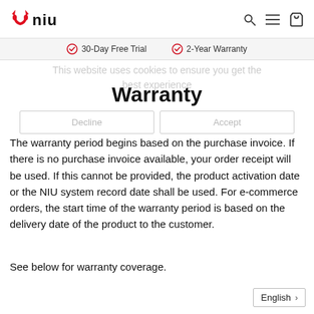NIU logo, search, menu, cart icons
30-Day Free Trial   2-Year Warranty
This website uses cookies to ensure you get the best experience
Warranty
Decline   Accept
The warranty period begins based on the purchase invoice. If there is no purchase invoice available, your order receipt will be used. If this cannot be provided, the product activation date or the NIU system record date shall be used. For e-commerce orders, the start time of the warranty period is based on the delivery date of the product to the customer.
See below for warranty coverage.
English >